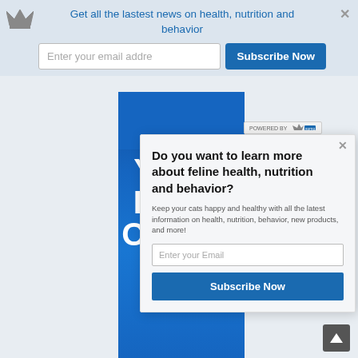Get all the lastest news on health, nutrition and behavior
Enter your email addre
Subscribe Now
[Figure (screenshot): Blue promotional banner with large white bold text reading YOUR FIRST ORDER and 5% off repeat]
POWERED BY
Do you want to learn more about feline health, nutrition and behavior?
Keep your cats happy and healthy with all the latest information on health, nutrition, behavior, new products, and more!
Enter your Email
Subscribe Now